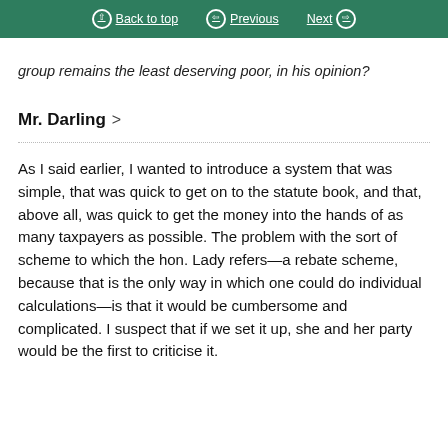Back to top | Previous | Next
group remains the least deserving poor, in his opinion?
Mr. Darling >
As I said earlier, I wanted to introduce a system that was simple, that was quick to get on to the statute book, and that, above all, was quick to get the money into the hands of as many taxpayers as possible. The problem with the sort of scheme to which the hon. Lady refers—a rebate scheme, because that is the only way in which one could do individual calculations—is that it would be cumbersome and complicated. I suspect that if we set it up, she and her party would be the first to criticise it.